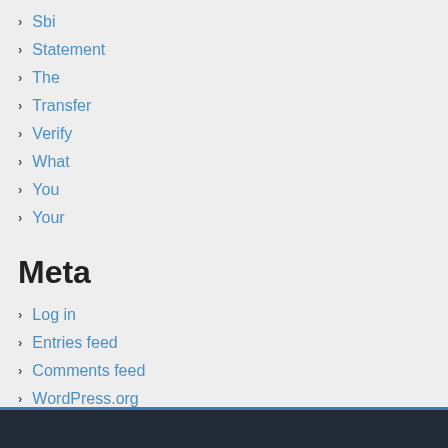Sbi
Statement
The
Transfer
Verify
What
You
Your
Meta
Log in
Entries feed
Comments feed
WordPress.org